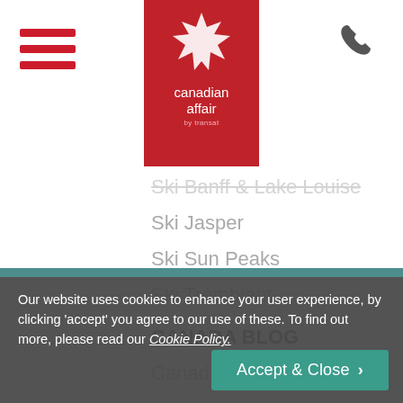[Figure (logo): Canadian Affair by Transat logo - red maple leaf on red background with company name]
Ski Banff & Lake Louise
Ski Jasper
Ski Sun Peaks
Ski Tremblant
CANADA BLOG
Canada Blog Articles
Our website uses cookies to enhance your user experience, by clicking 'accept' you agree to our use of these. To find out more, please read our Cookie Policy.
Accept & Close >